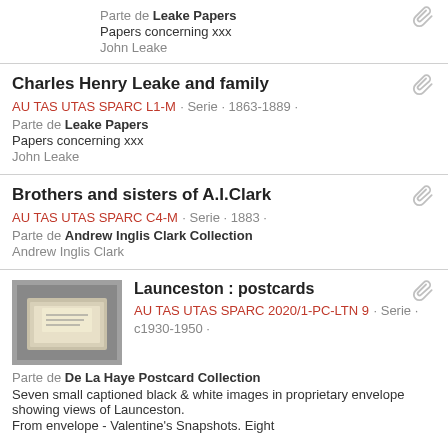Parte de Leake Papers
Papers concerning xxx
John Leake
Charles Henry Leake and family
AU TAS UTAS SPARC L1-M · Serie · 1863-1889 ·
Parte de Leake Papers
Papers concerning xxx
John Leake
Brothers and sisters of A.I.Clark
AU TAS UTAS SPARC C4-M · Serie · 1883 ·
Parte de Andrew Inglis Clark Collection
Andrew Inglis Clark
Launceston : postcards
AU TAS UTAS SPARC 2020/1-PC-LTN 9 · Serie · c1930-1950 ·
Parte de De La Haye Postcard Collection
Seven small captioned black & white images in proprietary envelope showing views of Launceston.
From envelope - Valentine's Snapshots. Eight